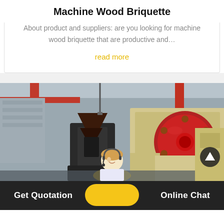Machine Wood Briquette
About product and suppliers: are you looking for machine wood briquette that are productive and...
read more
[Figure (photo): Industrial machine in a factory warehouse setting, featuring a large red and cream-colored crusher machine with a red flywheel disc, and a black briquette press machine in the foreground. Red structural beams visible in background.]
Get Quotation   Online Chat